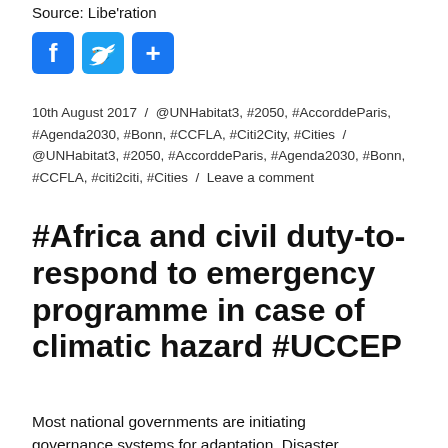Source: Libe'ration
[Figure (other): Social media share buttons: Facebook, Twitter, and a share/add button]
10th August 2017 / @UNHabitat3, #2050, #AccorddeParis, #Agenda2030, #Bonn, #CCFLA, #Citi2City, #Cities / @UNHabitat3, #2050, #AccorddeParis, #Agenda2030, #Bonn, #CCFLA, #citi2citi, #Cities / Leave a comment
#Africa and civil duty-to-respond to emergency programme in case of climatic hazard #UCCEP
Most national governments are initiating governance systems for adaptation. Disaster